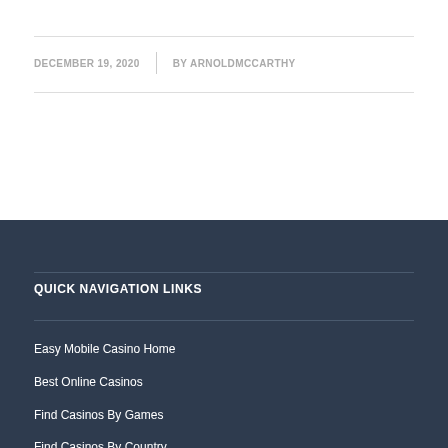DECEMBER 19, 2020 | BY ARNOLDMCCARTHY
QUICK NAVIGATION LINKS
Easy Mobile Casino Home
Best Online Casinos
Find Casinos By Games
Find Casinos By Country
Best Bitcoin Casino